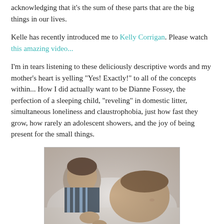acknowledging that it's the sum of these parts that are the big things in our lives.
Kelle has recently introduced me to Kelly Corrigan.  Please watch this amazing video...
I'm in tears listening to these deliciously descriptive words and my mother's heart is yelling "Yes! Exactly!" to all of the concepts within... How I did actually want to be Dianne Fossey, the perfection of a sleeping child, "reveling" in domestic litter, simultaneous loneliness and claustrophobia, just how fast they grow, how rarely an adolescent showers, and the joy of being present for the small things.
[Figure (photo): Two young boys lying down together, one leaning over the other, both looking at the camera. Warm, intimate family photo with soft lighting.]